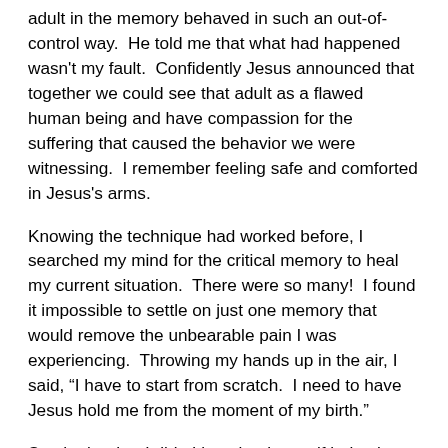adult in the memory behaved in such an out-of-control way.  He told me that what had happened wasn't my fault.  Confidently Jesus announced that together we could see that adult as a flawed human being and have compassion for the suffering that caused the behavior we were witnessing.  I remember feeling safe and comforted in Jesus's arms.
Knowing the technique had worked before, I searched my mind for the critical memory to heal my current situation.  There were so many!  I found it impossible to settle on just one memory that would remove the unbearable pain I was experiencing.  Throwing my hands up in the air, I said, “I have to start from scratch.  I need to have Jesus hold me from the moment of my birth.”
So, that's what I did.  I imagined myself being born into the very hands of Jesus.  I had not yet heard of re-birthing techniques, so I just used my imagination. I pictured myself emerging into the world and being caught by Jesus.  I allowed myself to feel as if I were the one wrapped in “swaddling clothes” and lovingly held by this man in whom I wasn't even sure I believed.  Undoubtedly, I was comforted, for I fell into a deep, peaceful sleep.  It was upon awakening many